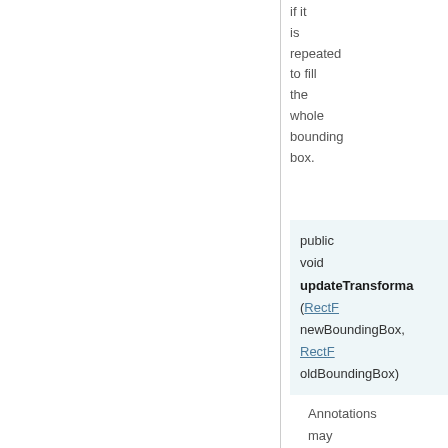if it is repeated to fill the whole bounding box.
public void updateTransformX(RectF newBoundingBox, RectF oldBoundingBox)
Annotations may override